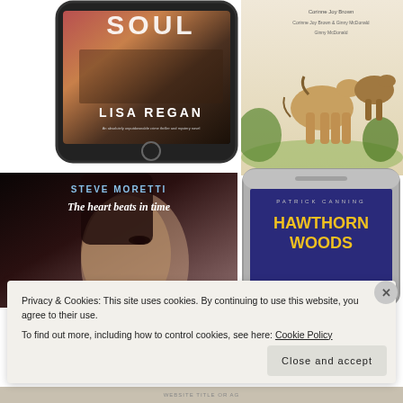[Figure (screenshot): Book cover for Lisa Regan novel displayed on a phone mockup — dark moody cover with 'SOUL' text and rural scene]
[Figure (illustration): Illustration of horses running in a field with green foliage, author credits: Corinne Joy Brown, written by Corinne Joy Brown & Ginny McDonald, illustrated by Ginny McDonald]
[Figure (photo): Book cover for Steve Moretti 'The heart beats in time' showing close-up of a woman's face]
[Figure (screenshot): Book cover for Patrick Canning 'Hawthorn Woods' displayed on a phone mockup — dark blue/purple cover with yellow title text]
Privacy & Cookies: This site uses cookies. By continuing to use this website, you agree to their use.
To find out more, including how to control cookies, see here: Cookie Policy
Close and accept